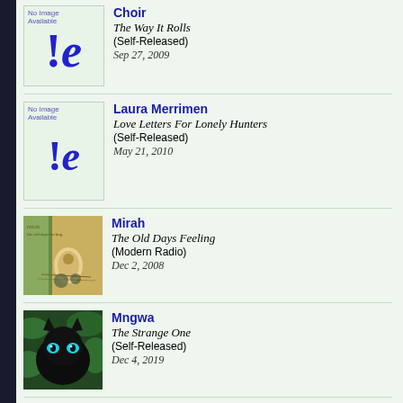[Figure (other): No Image Available placeholder with !e logo - Choir album]
Choir
The Way It Rolls
(Self-Released)
Sep 27, 2009
[Figure (other): No Image Available placeholder with !e logo - Laura Merrimen album]
Laura Merrimen
Love Letters For Lonely Hunters
(Self-Released)
May 21, 2010
[Figure (photo): Mirah - The Old Days Feeling album cover, illustrated artwork]
Mirah
The Old Days Feeling
(Modern Radio)
Dec 2, 2008
[Figure (photo): Mngwa - The Strange One album cover, black cat with blue eyes]
Mngwa
The Strange One
(Self-Released)
Dec 4, 2019
[Figure (photo): Moire - Shelter album cover, dark striped pattern with text MOIRE SHELTER]
Moire
Shelter
(Ninja Tune)
Aug 10, 2014
[Figure (photo): MonkeyJunk - Moon Turn Red album cover, red background]
MonkeyJunk
Moon Turn Red